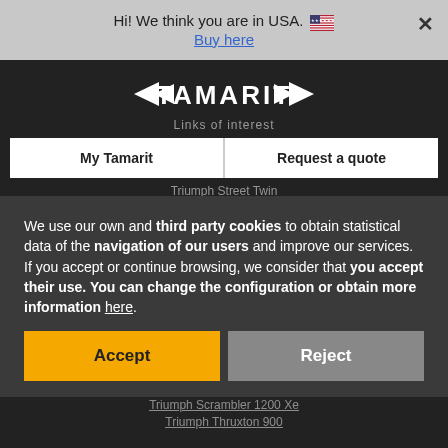Hi! We think you are in USA. 🇺🇸 Buy here ×
[Figure (logo): Tamarit motorcycle brand logo with wings]
Links of interest
My Tamarit
Request a quote
Triumph Street Twin
Triumph
Cafe Racer
Triumph Bonneville
Triumph Bobber
Triumph Scrambler Motorcycle
Scrambler
Triumph Thruxton
Triumph Speed Twin
Triumph Scrambler 1200
Cafe Racer For Sale
Street Scrambler Motorcycle
Triumph T100
Triumph Thruxton R
We use our own and third party cookies to obtain statistical data of the navigation of our users and improve our services. If you accept or continue browsing, we consider that you accept their use. You can change the configuration or obtain more information here.
Accept
Reject
Triumph Scrambler 1200 Xe
Triumph Thruxton 900